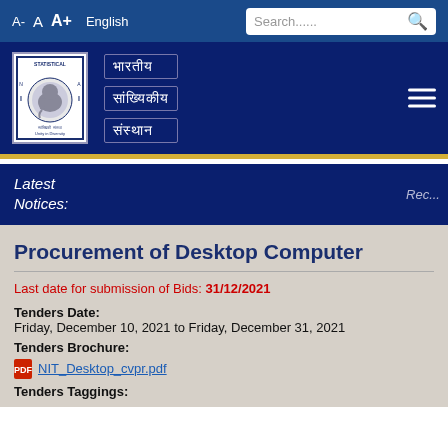A- A A+ English Search......
[Figure (logo): Indian Statistical Institute logo with text in Hindi]
भारतीय
सांख्यिकीय
संस्थान
Latest Notices:
Rec...
Procurement of Desktop Computer
Last date for submission of Bids: 31/12/2021
Tenders Date:
Friday, December 10, 2021 to Friday, December 31, 2021
Tenders Brochure:
NIT_Desktop_cvpr.pdf
Tenders Taggings: